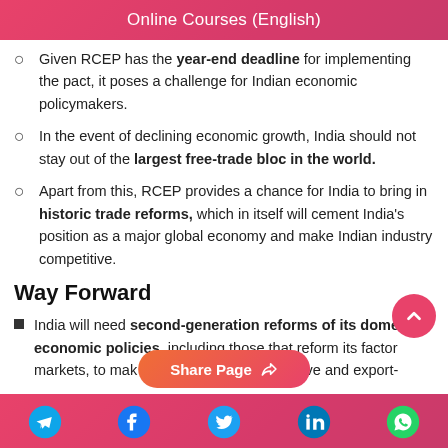Online Courses (English)
Given RCEP has the year-end deadline for implementing the pact, it poses a challenge for Indian economic policymakers.
In the event of declining economic growth, India should not stay out of the largest free-trade bloc in the world.
Apart from this, RCEP provides a chance for India to bring in historic trade reforms, which in itself will cement India's position as a major global economy and make Indian industry competitive.
Way Forward
India will need second-generation reforms of its domestic economic policies, including those that reform its factor markets, to make … petitive and export-
Share Page